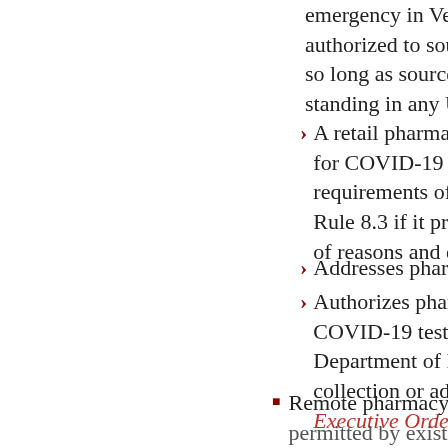emergency in Vermont authorized to source dr so long as source sites standing in any US jur
A retail pharmacy comp for COVID-19 reasons i requirements of Board Rule 8.3 if it promptly of reasons and expected
Addresses pharmacy st
Authorizes pharmacist COVID-19 tests approv Department of Health f collection or administr Executive Order 01-20
Remote pharmacy practic permitted by existing law